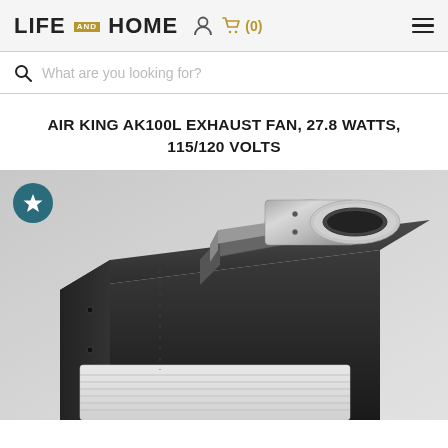LIFE AND HOME  (0)
What are you looking for?
AIR KING AK100L EXHAUST FAN, 27.8 WATTS, 115/120 VOLTS
[Figure (photo): Close-up product photo of an Air King AK100L exhaust fan showing the black metal housing and silver cylindrical exhaust port on top, with white ventilation grille visible at the bottom.]